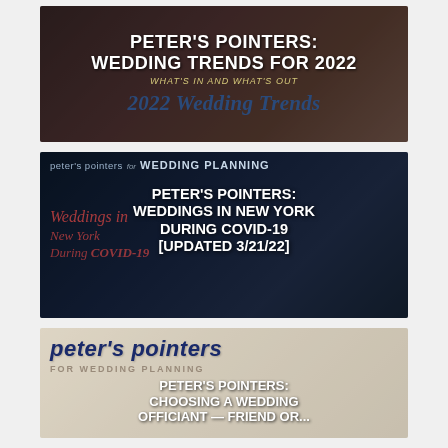[Figure (photo): Thumbnail image with dark wedding photo background showing text overlay: PETER'S POINTERS: WEDDING TRENDS FOR 2022 / WHAT'S IN AND WHAT'S OUT / 2022 Wedding Trends]
[Figure (photo): Thumbnail image with dark blue COVID-themed background: peter's pointers for WEDDING PLANNING / PETER'S POINTERS: WEDDINGS IN NEW YORK DURING COVID-19 [UPDATED 3/21/22]]
[Figure (photo): Thumbnail image with light parchment background: peter's pointers / WEDDING PLANNING / PETER'S POINTERS: CHOOSING A WEDDING OFFICIANT — FRIEND OR... (truncated)]